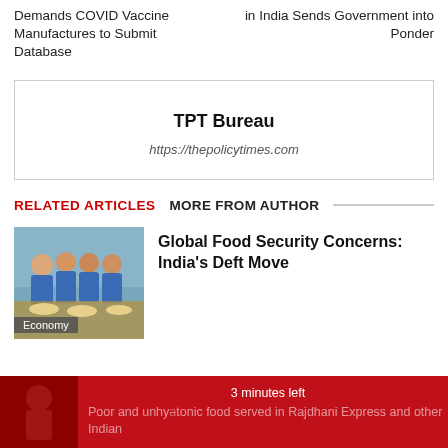Demands COVID Vaccine Manufactures to Submit Database
in India Sends Government into Ponder
TPT Bureau
https://thepolicytimes.com
RELATED ARTICLES   MORE FROM AUTHOR
[Figure (photo): Children in blue school uniforms eating food, Economy tag overlay]
Global Food Security Concerns: India’s Deft Move
Poor and unhydronic food served in Rajdhani Express and other Indian
3 minutes left